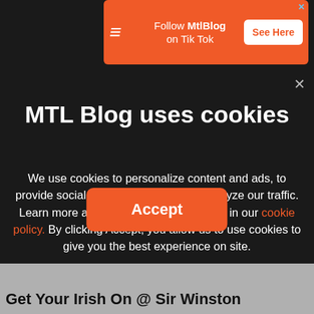[Figure (infographic): Orange TikTok follow advertisement banner for MtlBlog with logo, text 'Follow MtlBlog on Tik Tok', and 'See Here' button]
MTL Blog uses cookies
We use cookies to personalize content and ads, to provide social media features and to analyze our traffic. Learn more about how we use your data in our cookie policy. By clicking Accept, you allow us to use cookies to give you the best experience on site.
Accept
Get Your Irish On @ Sir Winston